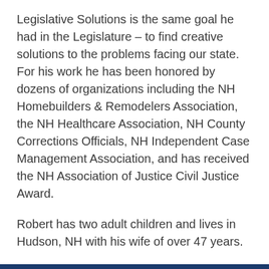Legislative Solutions is the same goal he had in the Legislature – to find creative solutions to the problems facing our state. For his work he has been honored by dozens of organizations including the NH Homebuilders & Remodelers Association, the NH Healthcare Association, NH County Corrections Officials, NH Independent Case Management Association, and has received the NH Association of Justice Civil Justice Award.
Robert has two adult children and lives in Hudson, NH with his wife of over 47 years.